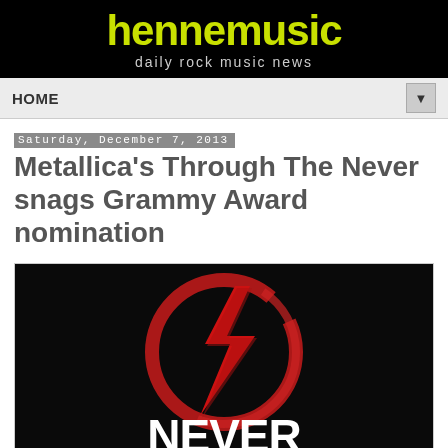hennemusic — daily rock music news
HOME
Saturday, December 7, 2013
Metallica's Through The Never snags Grammy Award nomination
[Figure (photo): Metallica Through The Never movie logo — red painted circle with lightning bolt on black background, white text 'NEVER' at bottom]